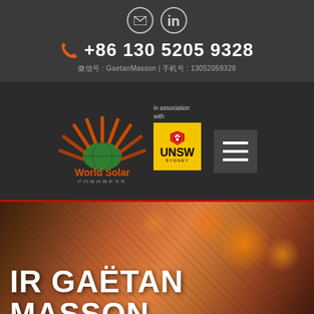[Figure (other): Email and LinkedIn icon circles in top bar]
+86 130 5205 9328
微信号 : GaetanMasson | 手机号 : 13052059328
[Figure (logo): World Solar Congress logo with sun rays and globe, in association with UNSW Sydney, and hamburger menu icon]
[Figure (photo): Blurred bokeh background with orange/red tones showing solar panels or industrial equipment]
IR GAËTAN MASSON
Managing Director | 总裁